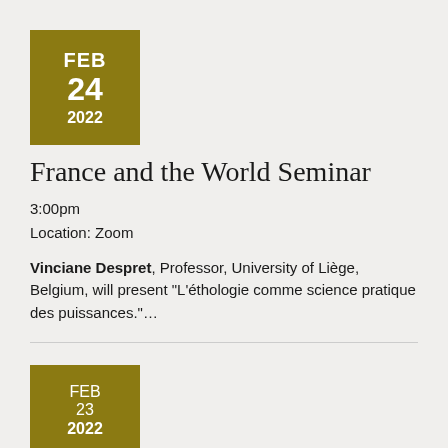[Figure (other): Olive/dark gold colored date box showing FEB 24 2022]
France and the World Seminar
3:00pm
Location: Zoom
Vinciane Despret, Professor, University of Liège, Belgium, will present "L'éthologie comme science pratique des puissances."…
[Figure (other): Olive/dark gold colored date box showing FEB 23 2022 (partially visible)]